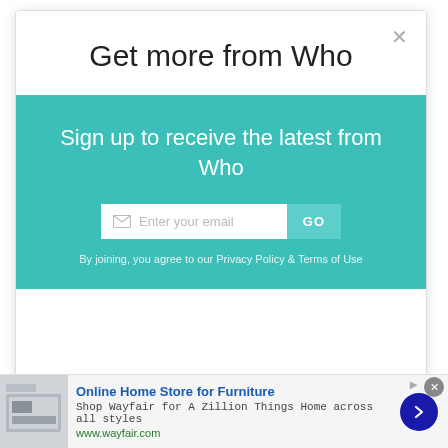Get more from Who
Sign up to receive the latest from Who
Enter your email
GO
By joining, you agree to our Privacy Policy & Terms of Use
[Figure (screenshot): Advertisement for Wayfair Online Home Store for Furniture with product image, title, description, and website URL www.wayfair.com]
Online Home Store for Furniture
Shop Wayfair for A Zillion Things Home across all styles
www.wayfair.com